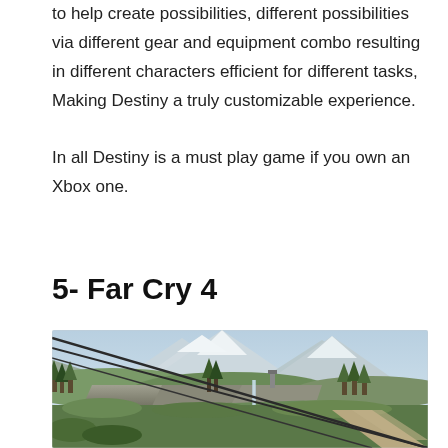to help create possibilities, different possibilities via different gear and equipment combo resulting in different characters efficient for different tasks, Making Destiny a truly customizable experience.

In all Destiny is a must play game if you own an Xbox one.
5- Far Cry 4
[Figure (photo): A scenic landscape screenshot from Far Cry 4 showing snow-capped mountains in the background, green trees and rocky terrain in the middle ground, with diagonal cable car wires crossing the foreground and a dirt path visible in the lower right.]